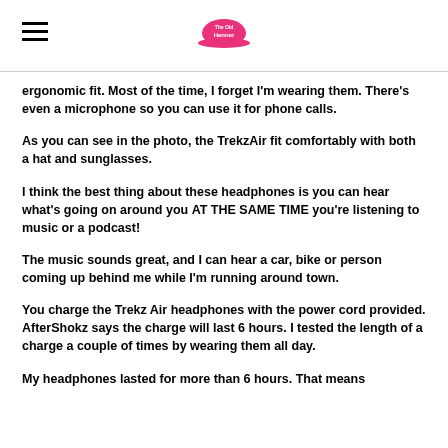[hamburger menu] [The Old Henner logo]
ergonomic fit. Most of the time, I forget I'm wearing them. There's even a microphone so you can use it for phone calls.
As you can see in the photo, the TrekzAir fit comfortably with both a hat and sunglasses.
I think the best thing about these headphones is you can hear what's going on around you AT THE SAME TIME you're listening to music or a podcast!
The music sounds great, and I can hear a car, bike or person coming up behind me while I'm running around town.
You charge the Trekz Air headphones with the power cord provided. AfterShokz says the charge will last 6 hours. I tested the length of a charge a couple of times by wearing them all day.
My headphones lasted for more than 6 hours. That means